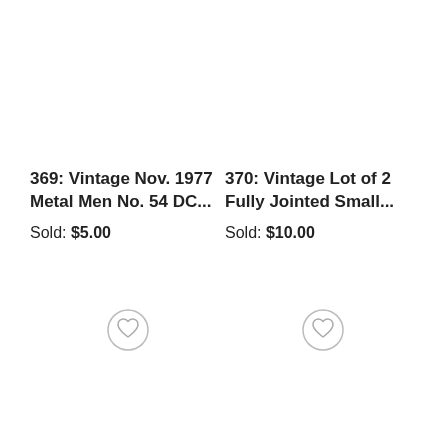369: Vintage Nov. 1977 Metal Men No. 54 DC...
Sold: $5.00
370: Vintage Lot of 2 Fully Jointed Small...
Sold: $10.00
[Figure (illustration): Heart/favorite icon in a circle, for item 369]
[Figure (illustration): Heart/favorite icon in a circle, for item 370]